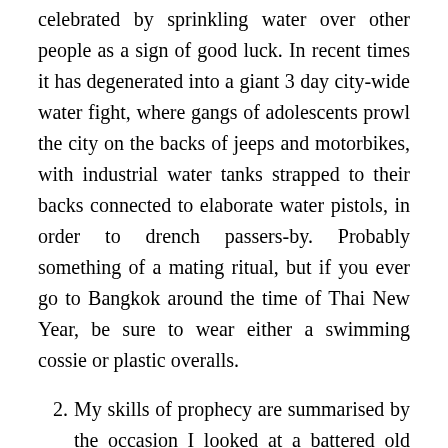celebrated by sprinkling water over other people as a sign of good luck. In recent times it has degenerated into a giant 3 day city-wide water fight, where gangs of adolescents prowl the city on the backs of jeeps and motorbikes, with industrial water tanks strapped to their backs connected to elaborate water pistols, in order to drench passers-by. Probably something of a mating ritual, but if you ever go to Bangkok around the time of Thai New Year, be sure to wear either a swimming cossie or plastic overalls.
2. My skills of prophecy are summarised by the occasion I looked at a battered old orange 737 sitting on the tarmac at Gatwick airport in 1997 and opined “No Frills airlines. That’ll never